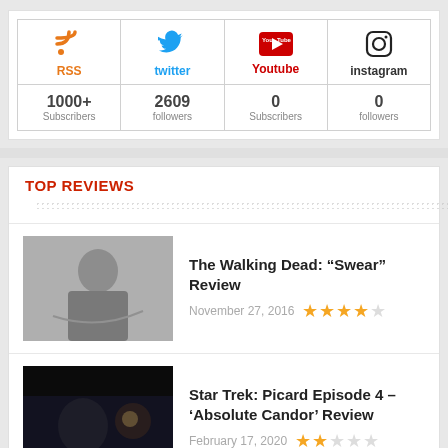[Figure (infographic): Social media stats widget showing RSS (1000+ Subscribers), Twitter (2609 followers), Youtube (0 Subscribers), Instagram (0 followers)]
TOP REVIEWS
[Figure (photo): Black and white photo of a person]
The Walking Dead: “Swear” Review
November 27, 2016 ★★★★☆
[Figure (photo): Dark scene from Star Trek Picard]
Star Trek: Picard Episode 4 – ‘Absolute Candor’ Review
February 17, 2020 ★★☆☆☆
[Figure (photo): Faded image from Maleficent]
Maleficent: Mistress of Evil Review – A Face You’ve Seen Before